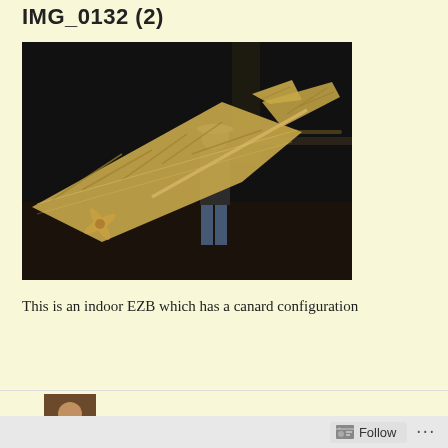IMG_0132 (2)
[Figure (photo): Indoor EZB model airplane with canard configuration being held by a person in a dark indoor space. The aircraft has tan/wood-colored wings and a canard forewing, with propeller at the rear. A man in a white cap and jeans is visible in the background.]
This is an indoor EZB which has a canard configuration
PUBLISHED BY JEFF RENZ
Follow